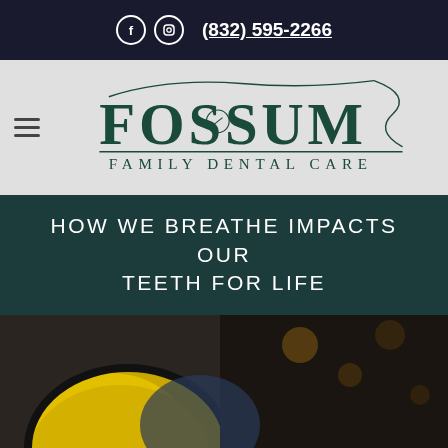(832) 595-2266
[Figure (logo): Fossum Family Dental Care logo with decorative swirl, dark teal serif text]
HOW WE BREATHE IMPACTS OUR TEETH FOR LIFE
[Figure (photo): Close-up photo of a person wearing a yellow and black face mask/respirator]